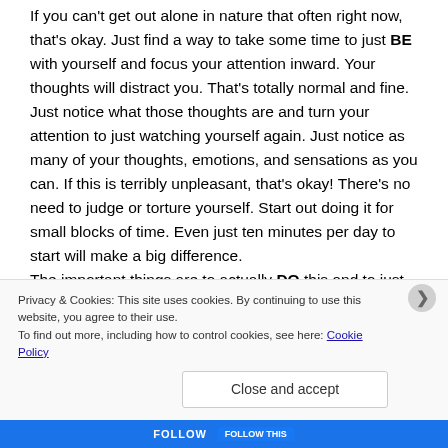If you can't get out alone in nature that often right now, that's okay. Just find a way to take some time to just BE with yourself and focus your attention inward. Your thoughts will distract you. That's totally normal and fine. Just notice what those thoughts are and turn your attention to just watching yourself again. Just notice as many of your thoughts, emotions, and sensations as you can. If this is terribly unpleasant, that's okay! There's no need to judge or torture yourself. Start out doing it for small blocks of time. Even just ten minutes per day to start will make a big difference.
The important things are to actually DO this and to just allow whatever is happening inside of you to fully play be whatever it is in the current moment during this time. This
Privacy & Cookies: This site uses cookies. By continuing to use this website, you agree to their use.
To find out more, including how to control cookies, see here: Cookie Policy
Close and accept